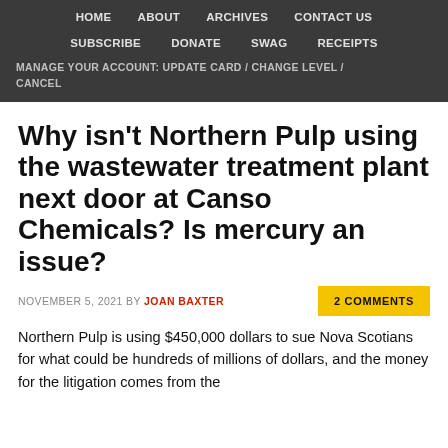HOME   ABOUT   ARCHIVES   CONTACT US   SUBSCRIBE   DONATE   SWAG   RECEIPTS   MANAGE YOUR ACCOUNT: UPDATE CARD / CHANGE LEVEL / CANCEL
Why isn't Northern Pulp using the wastewater treatment plant next door at Canso Chemicals? Is mercury an issue?
NOVEMBER 5, 2021 BY JOAN BAXTER   2 COMMENTS
Northern Pulp is using $450,000 dollars to sue Nova Scotians for what could be hundreds of millions of dollars, and the money for the litigation comes from the